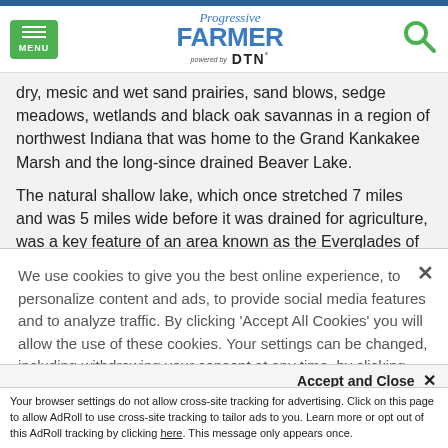Progressive FARMER powered by DTN
dry, mesic and wet sand prairies, sand blows, sedge meadows, wetlands and black oak savannas in a region of northwest Indiana that was home to the Grand Kankakee Marsh and the long-since drained Beaver Lake.
The natural shallow lake, which once stretched 7 miles and was 5 miles wide before it was drained for agriculture, was a key feature of an area known as the Everglades of the North.
Trevor Edmonson, the Kankakee Sands project manager, says the
We use cookies to give you the best online experience, to personalize content and ads, to provide social media features and to analyze traffic. By clicking 'Accept All Cookies' you will allow the use of these cookies. Your settings can be changed, including withdrawing your consent at any time, by clicking 'Cookie Settings'. Find out more on how we and third parties use cookies in our  Cookie Policy
Accept and Close ✕
Your browser settings do not allow cross-site tracking for advertising. Click on this page to allow AdRoll to use cross-site tracking to tailor ads to you. Learn more or opt out of this AdRoll tracking by clicking here. This message only appears once.